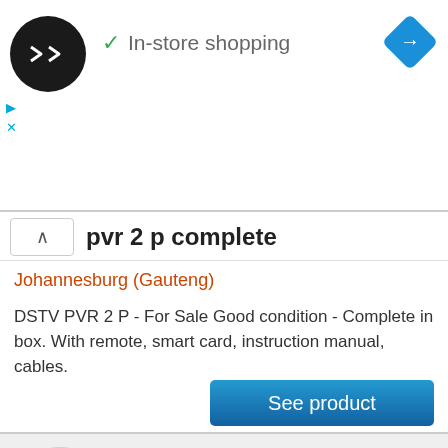[Figure (screenshot): Ad banner with circular black logo with double arrow symbol, green checkmark, text 'In-store shopping', and blue navigation diamond icon on the right. Small play and X icons on the left below the logo.]
pvr 2 p complete
Johannesburg (Gauteng)
DSTV PVR 2 P - For Sale Good condition - Complete in box. With remote, smart card, instruction manual, cables.
[Figure (logo): Oclasf watermark logo in light gray, partially visible at the bottom of the page]